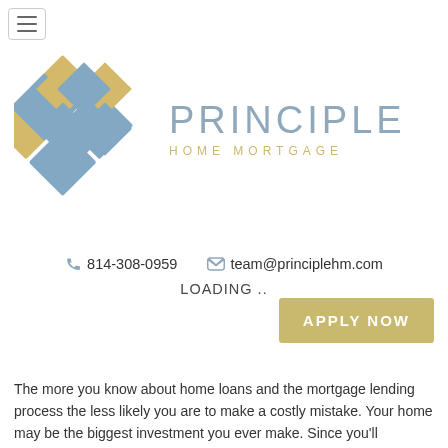[Figure (logo): Principle Home Mortgage logo with geometric diamond shapes in yellow and blue, and the text PRINCIPLE HOME MORTGAGE]
📞 814-308-0959   ✉ team@principlehm.com
LOADING ..
APPLY NOW
The more you know about home loans and the mortgage lending process the less likely you are to make a costly mistake. Your home may be the biggest investment you ever make. Since you'll probably be paying on this investment for 30 years with monthly payments, the